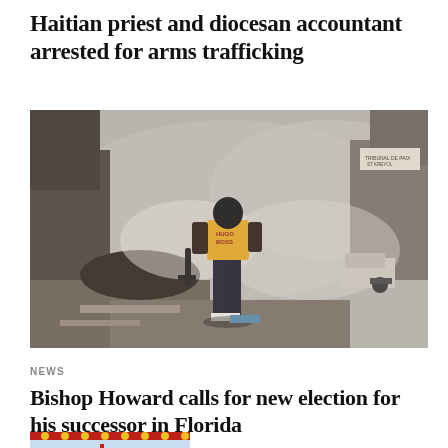Haitian priest and diocesan accountant arrested for arms trafficking
[Figure (photo): A masked man wearing a yellow shirt stands in a smoky street scene in Haiti, holding what appears to be a weapon, with a crowd visible in the background]
NEWS
Bishop Howard calls for new election for his successor in Florida
[Figure (photo): Partial view of a colorful decorated banner or textile with red, blue and gold patterns]